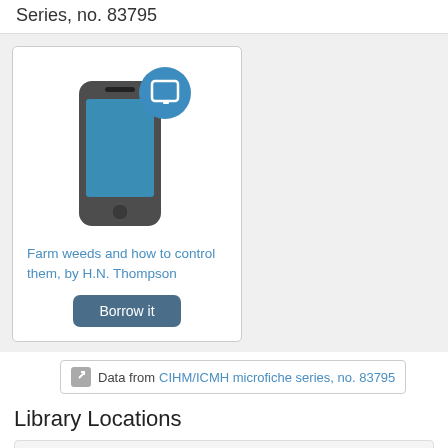Series, no. 83795
[Figure (illustration): Book listing card showing a smartphone illustration with a blue tablet badge icon, representing a digital/mobile resource]
Farm weeds and how to control them, by H.N. Thompson
Borrow it
Data from CIHM/ICMH microfiche series, no. 83795
Library Locations